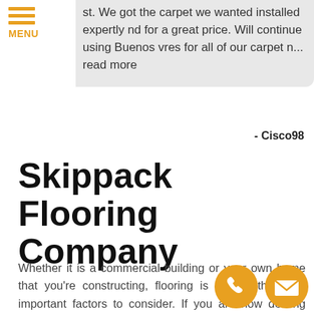MENU
st. We got the carpet we wanted installed expertly nd for a great price. Will continue using Buenos vres for all of our carpet n... read more
- Cisco98
Skippack Flooring Company
Whether it is a commercial building or your own home that you're constructing, flooring is among the most important factors to consider. If you are now dealing with the construction of your new home, the restoration of your old one, or the upgrade of some of your home's specific rooms, you need a trusted flooring company to complete your project with a bang.
[Figure (illustration): Two circular orange contact icons: a phone handset and an envelope/mail icon]